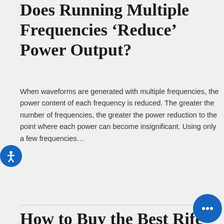Does Running Multiple Frequencies ‘Reduce’ Power Output?
When waveforms are generated with multiple frequencies, the power content of each frequency is reduced. The greater the number of frequencies, the greater the power reduction to the point where each power can become insignificant. Using only a few frequencies…
Read more →
How to Buy the Best Rife Machine
Looking How to Buy the Be...